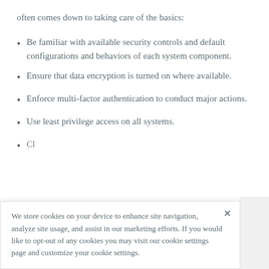often comes down to taking care of the basics:
Be familiar with available security controls and default configurations and behaviors of each system component.
Ensure that data encryption is turned on where available.
Enforce multi-factor authentication to conduct major actions.
Use least privilege access on all systems.
We store cookies on your device to enhance site navigation, analyze site usage, and assist in our marketing efforts. If you would like to opt-out of any cookies you may visit our cookie settings page and customize your cookie settings.